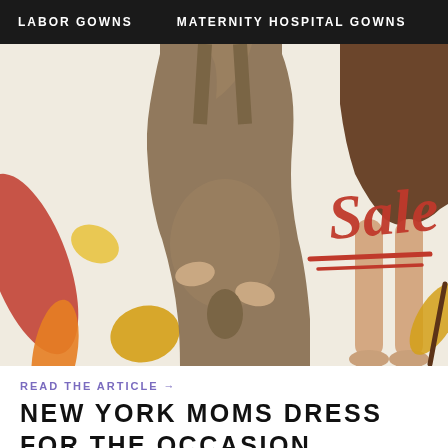LABOR GOWNS   MATERNITY HOSPITAL GOWNS   DO
[Figure (photo): Hero banner image showing a pregnant woman in an olive/mustard colored maternity dress holding her belly, with autumn leaves around her. To the right, a woman in a dark brown dress showing legs. Red handwritten 'SALE' text overlay on white background.]
READ THE ARTICLE →
NEW YORK MOMS DRESS FOR THE OCCASION